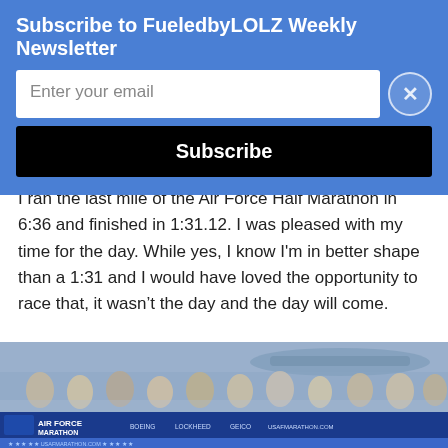Subscribe to FueledbyLOLZ Weekly Newsletter
Enter your email
Subscribe
I ran the last mile of the Air Force Half Marathon in 6:36 and finished in 1:31.12. I was pleased with my time for the day. While yes, I know I'm in better shape than a 1:31 and I would have loved the opportunity to race that, it wasn't the day and the day will come.
[Figure (photo): Crowd of spectators at the Air Force Marathon event, standing behind a blue Air Force Marathon banner with sponsor logos including Boeing and others. A large military aircraft is visible in the background.]